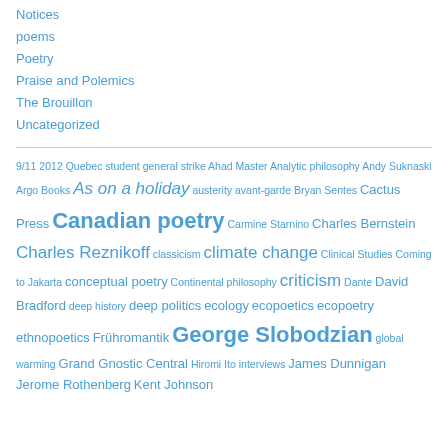Notices
poems
Poetry
Praise and Polemics
The Brouillon
Uncategorized
9/11 2012 Quebec student general strike Ahad Master Analytic philosophy Andy Suknaski Argo Books As on a holiday austerity avant-garde Bryan Sentes Cactus Press Canadian poetry Carmine Starnino Charles Bernstein Charles Reznikoff classicism climate change Clinical Studies Coming to Jakarta conceptual poetry Continental philosophy criticism Dante David Bradford deep history deep politics ecology ecopoetics ecopoetry ethnopoetics Frühromantik George Slobodzian global warming Grand Gnostic Central Hiromi Ito interviews James Dunnigan Jerome Rothenberg Kent Johnson